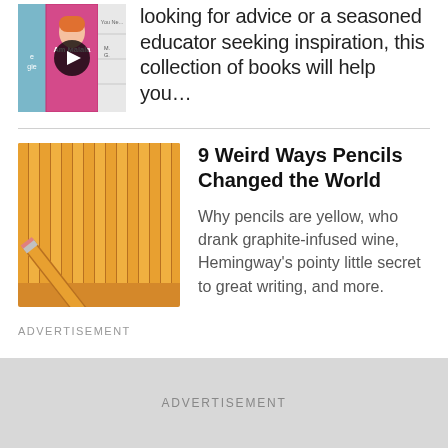looking for advice or a seasoned educator seeking inspiration, this collection of books will help you…
[Figure (photo): Thumbnail image of a book (Am Malala) with a play button overlay, alongside a list of book covers]
9 Weird Ways Pencils Changed the World
Why pencils are yellow, who drank graphite-infused wine, Hemingway's pointy little secret to great writing, and more.
[Figure (photo): Close-up photo of yellow pencils arranged side by side, one pencil pointing diagonally at the bottom]
ADVERTISEMENT
ADVERTISEMENT